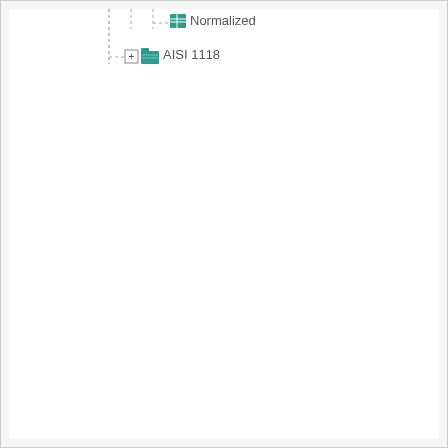[Figure (screenshot): Software tree/hierarchy view showing two items: 'Normalized' (with a table icon, shown as a leaf node with dashed connectors) and 'AISI 1118' (with a folder icon and expand button, shown as a sibling node below).]